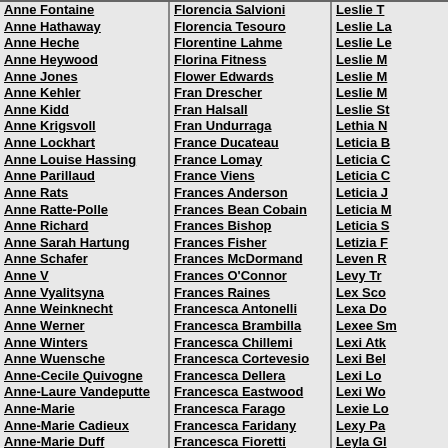Anne Fontaine, Anne Hathaway, Anne Heche, Anne Heywood, Anne Jones, Anne Kehler, Anne Kidd, Anne Krigsvoll, Anne Lockhart, Anne Louise Hassing, Anne Parillaud, Anne Rats, Anne Ratte-Polle, Anne Richard, Anne Sarah Hartung, Anne Schafer, Anne V, Anne Vyalitsyna, Anne Weinknecht, Anne Werner, Anne Winters, Anne Wuensche, Anne-Cecile Quivogne, Anne-Laure Vandeputte, Anne-Marie, Anne-Marie Cadieux, Anne-Marie Duff, Anne-Marie Mogg
Florencia Salvioni, Florencia Tesouro, Florentine Lahme, Florina Fitness, Flower Edwards, Fran Drescher, Fran Halsall, Fran Undurraga, France Ducateau, France Lomay, France Viens, Frances Anderson, Frances Bean Cobain, Frances Bishop, Frances Fisher, Frances McDormand, Frances O'Connor, Frances Raines, Francesca Antonelli, Francesca Brambilla, Francesca Chillemi, Francesca Cortevesio, Francesca Dellera, Francesca Eastwood, Francesca Farago, Francesca Faridany, Francesca Fioretti, Francesca Fowler, Francesca Frigo
Leslie T, Leslie La, Leslie Le, Leslie M, Leslie M, Leslie M, Leslie St, Lethia N, Leticia B, Leticia C, Leticia C, Leticia J, Leticia M, Leticia S, Letizia F, Leven R, Levy Tr, Lex Sco, Lexa Do, Lexee Sm, Lexi Atk, Lexi Bel, Lexi Lo, Lexi Wo, Lexie Lo, Lexy Pa, Leyla Gl, Leyva Ja, Li Borge